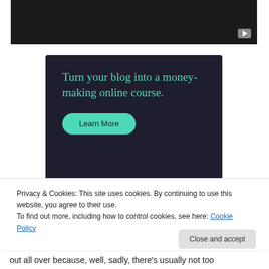[Figure (screenshot): Dark video player placeholder with play button icon in lower right corner]
[Figure (infographic): Dark navy advertisement banner with teal text reading 'Turn your blog into a money-making online course.' and a teal 'Learn More' button]
Privacy & Cookies: This site uses cookies. By continuing to use this website, you agree to their use.
To find out more, including how to control cookies, see here: Cookie Policy
Close and accept
out all over because, well, sadly, there's usually not too